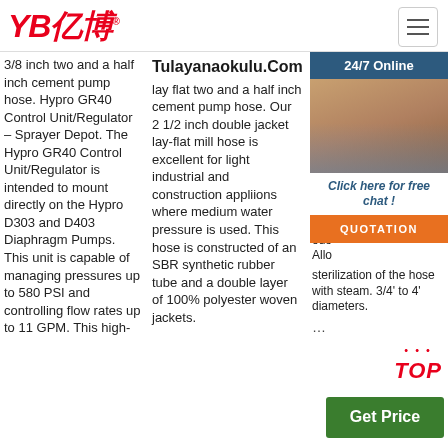YB亿博® — navigation header with hamburger menu
3/8 inch two and a half inch cement pump hose. Hypro GR40 Control Unit/Regulator – Sprayer Depot. The Hypro GR40 Control Unit/Regulator is intended to mount directly on the Hypro D303 and D403 Diaphragm Pumps. This unit is capable of managing pressures up to 580 PSI and controlling flow rates up to 11 GPM. This high-
Tulayanaokulu.Com CE RSB lay flat two and a half inch cement pump hose. Our 2 1/2 inch double jacket lay-flat mill hose is excellent for light industrial and construction appliions where medium water pressure is used. This hose is constructed of an SBR synthetic rubber tube and a double layer of 100% polyester woven jackets.
Bre... hea... forn... suc... of b... alco... drin... whi... but... ens... odo... Allo... sterilization of the hose with steam. 3/4' to 4' diameters. ...